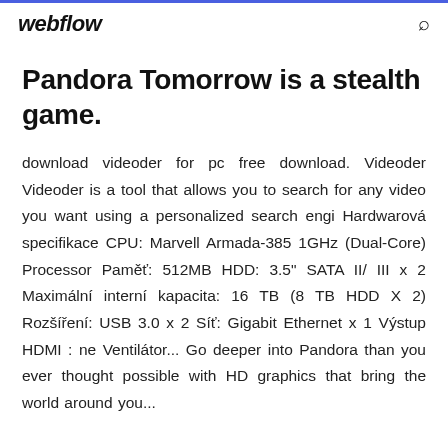webflow
Pandora Tomorrow is a stealth game.
download videoder for pc free download. Videoder Videoder is a tool that allows you to search for any video you want using a personalized search engi Hardwarová specifikace CPU: Marvell Armada-385 1GHz (Dual-Core) Processor Paměť: 512MB HDD: 3.5" SATA II/ III x 2 Maximální interní kapacita: 16 TB (8 TB HDD X 2) Rozšíření: USB 3.0 x 2 Síť: Gigabit Ethernet x 1 Výstup HDMI : ne Ventilátor... Go deeper into Pandora than you ever thought possible with HD graphics that bring the world around you... Notit...lif